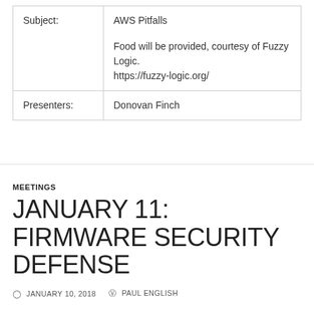| Subject: | AWS Pitfalls

Food will be provided, courtesy of Fuzzy Logic.
https://fuzzy-logic.org/ |
| Presenters: | Donovan Finch |
MEETINGS
JANUARY 11: FIRMWARE SECURITY DEFENSE
© JANUARY 10, 2018   PAUL ENGLISH